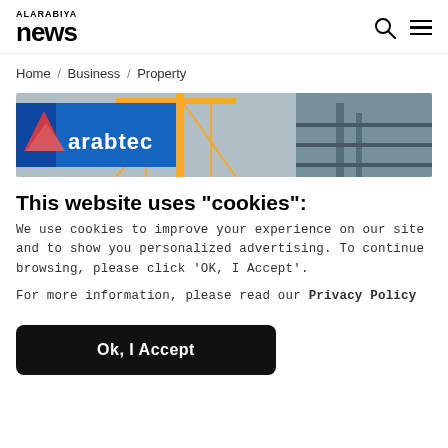ALARABIYA news
Home / Business / Property
[Figure (photo): Arabtec construction site with crane and building structure]
This website uses "cookies":
We use cookies to improve your experience on our site and to show you personalized advertising. To continue browsing, please click ‘OK, I Accept’.
For more information, please read our Privacy Policy
Ok, I Accept